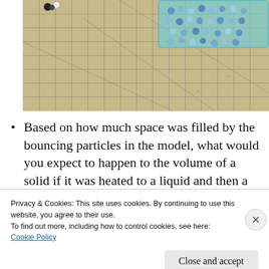[Figure (photo): Photo of a cutting mat (gridded surface) with a teal plastic container holding blue/light-colored spherical particles (molecules), and a few dark and white molecule models on the mat surface.]
Based on how much space was filled by the bouncing particles in the model, what would you expect to happen to the volume of a solid if it was heated to a liquid and then a
Privacy & Cookies: This site uses cookies. By continuing to use this website, you agree to their use.
To find out more, including how to control cookies, see here:
Cookie Policy
Close and accept